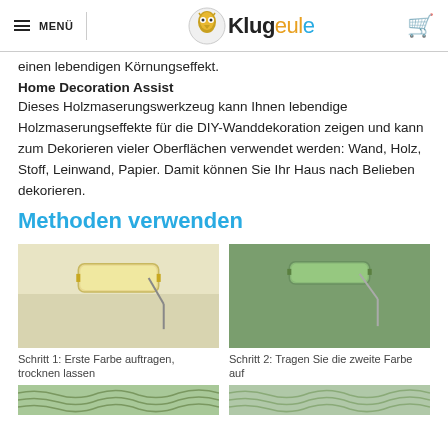≡ MENÜ | Klugeule | [cart]
einen lebendigen Körnungseffekt.
Home Decoration Assist
Dieses Holzmaserungswerkzeug kann Ihnen lebendige Holzmaserungseffekte für die DIY-Wanddekoration zeigen und kann zum Dekorieren vieler Oberflächen verwendet werden: Wand, Holz, Stoff, Leinwand, Papier. Damit können Sie Ihr Haus nach Belieben dekorieren.
Methoden verwenden
[Figure (photo): Paint roller applying yellow/cream paint on a white wall - Step 1]
Schritt 1: Erste Farbe auftragen, trocknen lassen
[Figure (photo): Paint roller with green paint on a green wall - Step 2]
Schritt 2: Tragen Sie die zweite Farbe auf
[Figure (photo): Wood grain texture in green - bottom left]
[Figure (photo): Wood grain texture in green - bottom right]